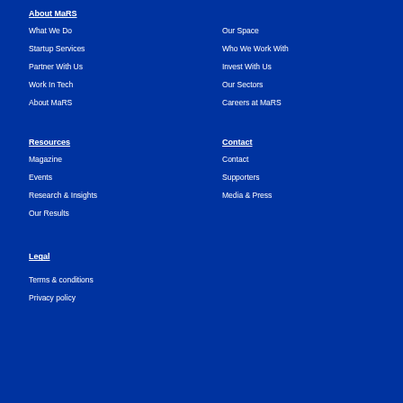About MaRS
What We Do
Our Space
Startup Services
Who We Work With
Partner With Us
Invest With Us
Work In Tech
Our Sectors
About MaRS
Careers at MaRS
Resources
Contact
Magazine
Contact
Events
Supporters
Research & Insights
Media & Press
Our Results
Legal
Terms & conditions
Privacy policy